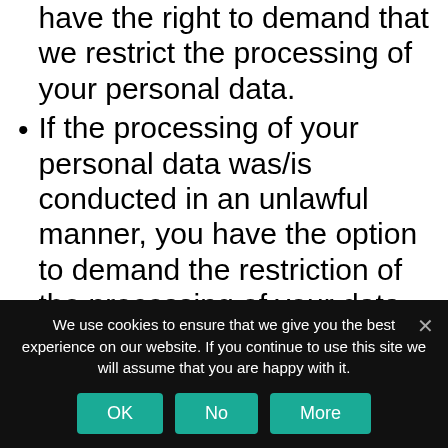have the right to demand that we restrict the processing of your personal data.
If the processing of your personal data was/is conducted in an unlawful manner, you have the option to demand the restriction of the processing of your data in lieu of demanding the eradication of this data.
If we do not need your personal data any longer and you need it to exercise, defend or claim legal entitlements, you
We use cookies to ensure that we give you the best experience on our website. If you continue to use this site we will assume that you are happy with it.